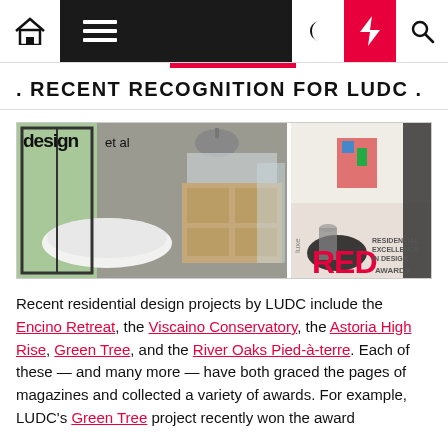Navigation bar with home, menu, dark mode, lightning, and search icons
. RECENT RECOGNITION FOR LUDC .
[Figure (photo): Two interior design photos side by side with 'design et al' magazine logo overlay and 'luxe RED Residential Excellence in Design Awards' logo in bottom right corner. Left photo shows a modern bathroom with freestanding bathtub and large windows. Right photo shows a bright living space.]
Recent residential design projects by LUDC include the Encino Retreat, the Viscaino Conservatory, the Astoria High Rise, Green Tree, and the River Oaks Pied-à-terre. Each of these — and many more — have both graced the pages of magazines and collected a variety of awards. For example, LUDC's Green Tree project recently won the award